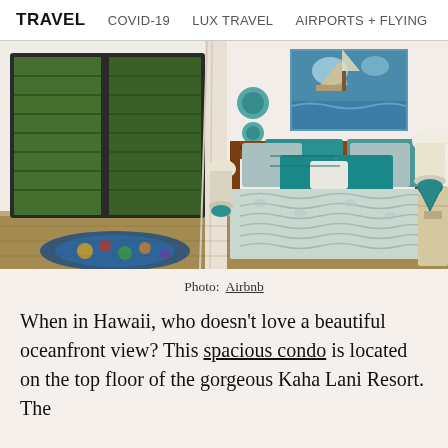TRAVEL   COVID-19   LUX TRAVEL   AIRPORTS + FLYING
[Figure (photo): Tropical bedroom interior with wood-framed bed with teal/blue pillows and light coverlet, colorful patterned area rug, large louvered windows showing lush green foliage outside, a coastal painting on the wall, and teal lamp on nightstand.]
Photo: Airbnb
When in Hawaii, who doesn’t love a beautiful oceanfront view? This spacious condo is located on the top floor of the gorgeous Kaha Lani Resort. The